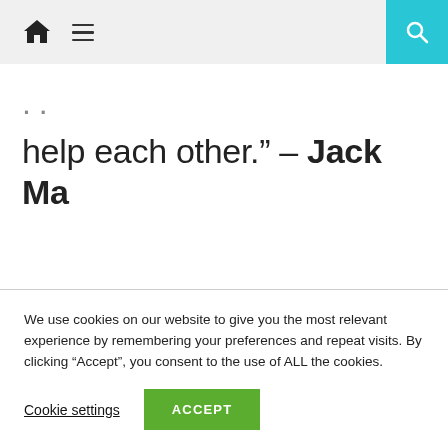Navigation bar with home icon, menu icon, and search button
help each other.” – Jack Ma
We use cookies on our website to give you the most relevant experience by remembering your preferences and repeat visits. By clicking “Accept”, you consent to the use of ALL the cookies.
Cookie settings   ACCEPT